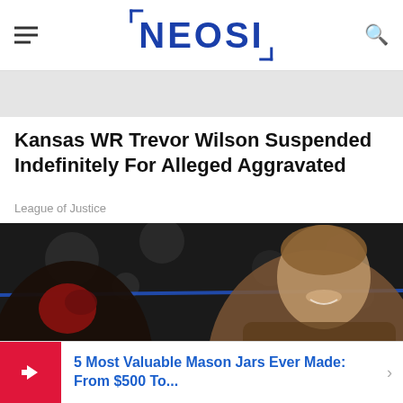NEOSI
Kansas WR Trevor Wilson Suspended Indefinitely For Alleged Aggravated
League of Justice
[Figure (photo): Two fighters in a dark arena setting, one on the left with a red glove, one on the right smiling, with a blue rope visible in the background]
5 Most Valuable Mason Jars Ever Made: From $500 To...